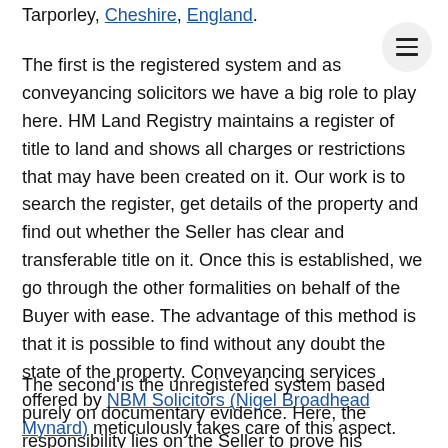Tarporley, Cheshire, England.
The first is the registered system and as conveyancing solicitors we have a big role to play here. HM Land Registry maintains a register of title to land and shows all charges or restrictions that may have been created on it. Our work is to search the register, get details of the property and find out whether the Seller has clear and transferable title on it. Once this is established, we go through the other formalities on behalf of the Buyer with ease. The advantage of this method is that it is possible to find without any doubt the state of the property. Conveyancing services offered by NBM Solicitors (Nigel Broadhead Mynard) meticulously takes care of this aspect.
The second is the unregistered system based purely on documentary evidence. Here, the responsibility lies on the Seller to prove his undisputable clear title to the property and